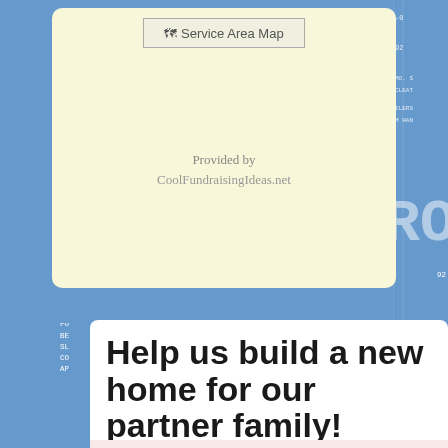[Figure (map): Service Area Map placeholder image in a cream/yellow rounded box with 'Provided by CoolFundraisingIdeas.net' text below]
Provided by
CoolFundraisingIdeas.net
Help us build a new home for our partner family!
Deprecated function: The each() function is deprecated. This message will be suppressed on further calls in _menu_load_objects() (line 579 of /home/...